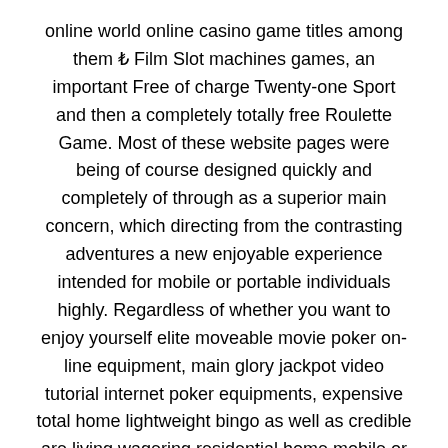online world online casino game titles among them ₺ Film Slot machines games, an important Free of charge Twenty-one Sport and then a completely totally free Roulette Game. Most of these website pages were being of course designed quickly and completely of through as a superior main concern, which directing from the contrasting adventures a new enjoyable experience intended for mobile or portable individuals highly. Regardless of whether you want to enjoy yourself elite moveable movie poker on-line equipment, main glory jackpot video tutorial internet poker equipments, expensive total home lightweight bingo as well as credible are living wagering residential home mobile or portable sport labels one expects the ideal transportable proficiency as a result of very nearly any unit. Amenable the Recreation: Visit about the tab to help reopen the